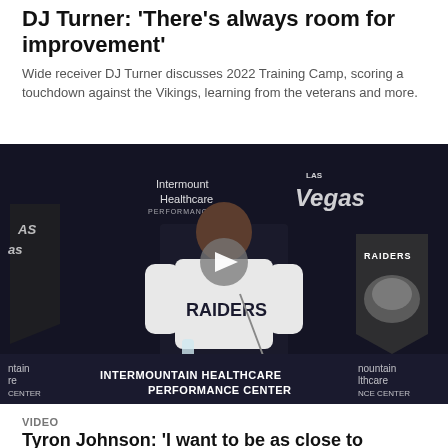DJ Turner: 'There's always room for improvement'
Wide receiver DJ Turner discusses 2022 Training Camp, scoring a touchdown against the Vikings, learning from the veterans and more.
[Figure (photo): DJ Turner, Las Vegas Raiders wide receiver, standing at a podium with a Raiders jersey in front of a backdrop showing 'Intermountain Healthcare Performance Center' and 'Las Vegas' branding. A video play button overlay is visible in the center.]
VIDEO
Tyron Johnson: 'I want to be as close to perfect as I can'